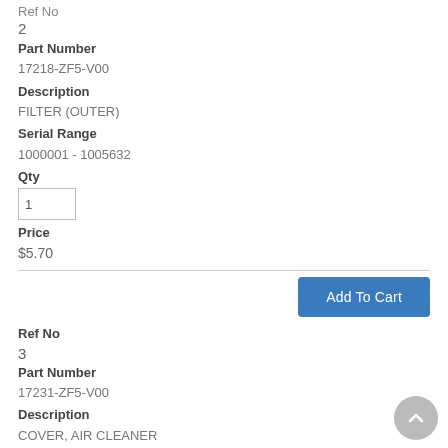Ref No
2
Part Number
17218-ZF5-V00
Description
FILTER (OUTER)
Serial Range
1000001 - 1005632
Qty
Price
$5.70
Add To Cart
Ref No
3
Part Number
17231-ZF5-V00
Description
COVER, AIR CLEANER